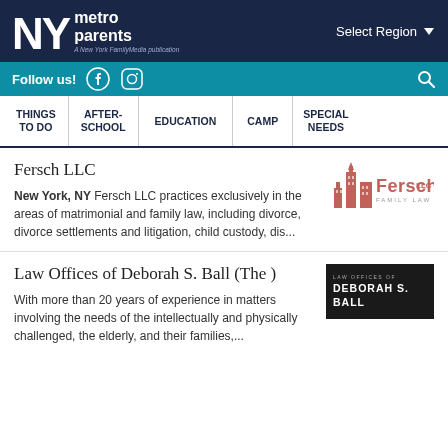NY metro parents — A New York Family Media publication
Follow us! | Select Region
THINGS TO DO | AFTER-SCHOOL | EDUCATION | CAMP | SPECIAL NEEDS
Fersch LLC
New York, NY Fersch LLC practices exclusively in the areas of matrimonial and family law, including divorce, divorce settlements and litigation, child custody, dis...
[Figure (logo): Fersch LLC Family Law logo with building silhouette in red/orange]
Law Offices of Deborah S. Ball (The )
With more than 20 years of experience in matters involving the needs of the intellectually and physically challenged, the elderly, and their families,...
[Figure (logo): Law Offices of Deborah S. Ball logo — white text on dark background]